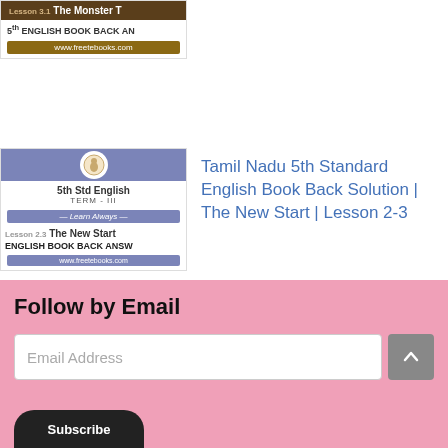[Figure (screenshot): Thumbnail card for Lesson 3.1 The Monster T - 5th English Book Back Answers, with URL www.freetebooks.com]
[Figure (screenshot): Thumbnail card for 5th Std English Term III Learn Always - Lesson 2.3 The New Start - English Book Back Answers, with URL www.freetebooks.com]
Tamil Nadu 5th Standard English Book Back Solution | The New Start | Lesson 2-3
Follow by Email
Email Address
Subscribe